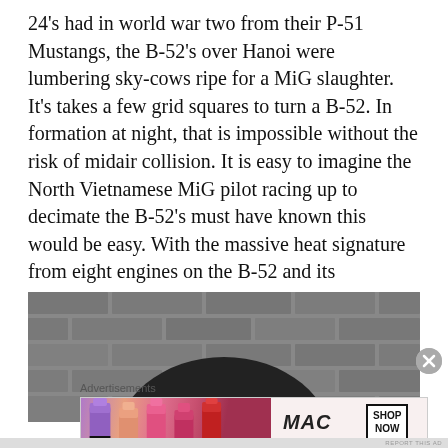24's had in world war two from their P-51 Mustangs, the B-52's over Hanoi were lumbering sky-cows ripe for a MiG slaughter. It's takes a few grid squares to turn a B-52. In formation at night, that is impossible without the risk of midair collision. It is easy to imagine the North Vietnamese MiG pilot racing up to decimate the B-52's must have known this would be easy. With the massive heat signature from eight engines on the B-52 and its non-existent maneuverability the MiGs could be… almost leisurely in their predation.
[Figure (photo): Black and white photograph showing the top of a person's dark-haired head in front of a brick wall background.]
Advertisements
[Figure (photo): MAC cosmetics advertisement showing lipsticks in purple, peach, pink, and red colors alongside the MAC logo and a SHOP NOW button.]
REPORT THIS AD